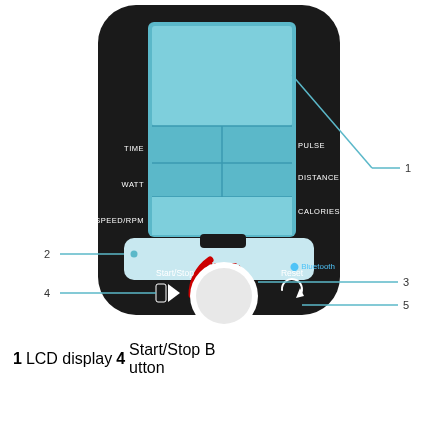[Figure (engineering-diagram): Labeled diagram of an exercise machine console/display panel. The black console has: (1) a blue LCD display at the top with segments labeled TIME, WATT, SPEED/RPM on the left and PULSE, DISTANCE, CALORIES on the right; (2) a light blue progress/wheel band below the display; (3) a central white round MODE knob with a red resistance indicator arc; (4) a Start/Stop button with a play/stop icon on the lower left; (5) a Reset button with an icon on the lower right. Bluetooth logo also visible. Lines with numbers 1-5 point to respective elements.]
| 1 | LCD display | 4 | Start/Stop Button |